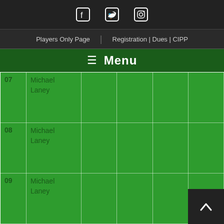Social media icons: Facebook, Twitter, Instagram
Players Only Page | Registration | Dues | CIPP
☰ Menu
| # | Name |  |  |  |  |
| --- | --- | --- | --- | --- | --- |
| 07 | Michael Laney |  |  |  |  |
| 08 | Michael Laney |  |  |  |  |
| 09 | Michael Laney |  |  |  |  |
| 10 | Michael Laney |  |  |  |  |